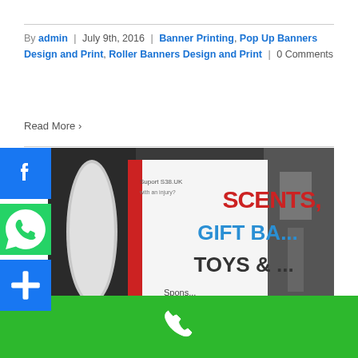By admin | July 9th, 2016 | Banner Printing, Pop Up Banners Design and Print, Roller Banners Design and Print | 0 Comments
Read More ›
[Figure (photo): Photograph of a printed PVC banner showing text 'SCENTS, GIFT BA... TOYS &...' with sponsor text and a 'Suport S38.UK' roller banner visible in background.]
Outdoor PVC banner for a stall in the park. #bigprintbirmingham